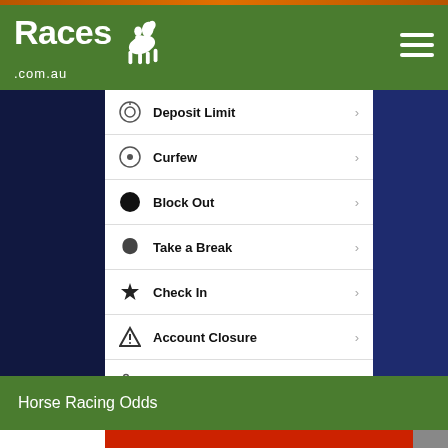Races.com.au
[Figure (screenshot): Mobile app screenshot showing a responsible gambling menu with options: Deposit Limit, Curfew, Block Out, Take a Break, Check In, Account Closure, Market Control — each with a chevron arrow on a dark blue/navy background]
Horse Racing Odds
[Figure (photo): Ladbrokes promotional banner with red background showing bold italic white text 'LADBROKE IT!' rotated slightly]